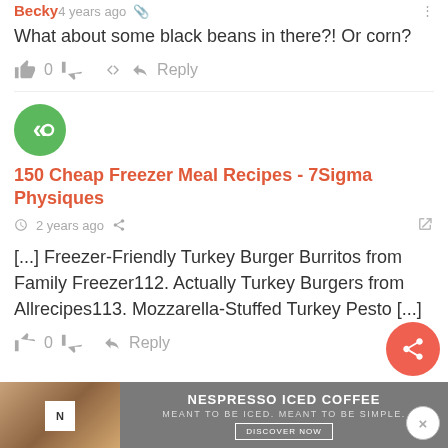Becky · 4 years ago
What about some black beans in there?! Or corn?
👍 0 👎 → Reply
[Figure (logo): Green circular logo with white double left-arrow symbol]
150 Cheap Freezer Meal Recipes - 7Sigma Physiques
🕐 2 years ago 🔗
[...] Freezer-Friendly Turkey Burger Burritos from Family Freezer112. Actually Turkey Burgers from Allrecipes113. Mozzarella-Stuffed Turkey Pesto [...]
👍 0 👎 → Reply
[Figure (infographic): Nespresso Iced Coffee advertisement banner with coffee image and text: NESPRESSO ICED COFFEE, MEANT TO BE ICED. MEANT TO BE SIMPLE, DISCOVER NOW]